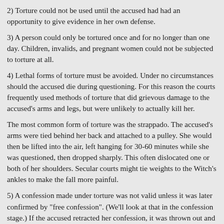2) Torture could not be used until the accused had had an opportunity to give evidence in her own defense.
3) A person could only be tortured once and for no longer than one day. Children, invalids, and pregnant women could not be subjected to torture at all.
4) Lethal forms of torture must be avoided. Under no circumstances should the accused die during questioning. For this reason the courts frequently used methods of torture that did grievous damage to the accused's arms and legs, but were unlikely to actually kill her.
The most common form of torture was the strappado. The accused's arms were tied behind her back and attached to a pulley. She would then be lifted into the air, left hanging for 30-60 minutes while she was questioned, then dropped sharply. This often dislocated one or both of her shoulders. Secular courts might tie weights to the Witch's ankles to make the fall more painful.
5) A confession made under torture was not valid unless it was later confirmed by "free confession". (We'll look at that in the confession stage.) If the accused retracted her confession, it was thrown out and she could not be tortured a second time.